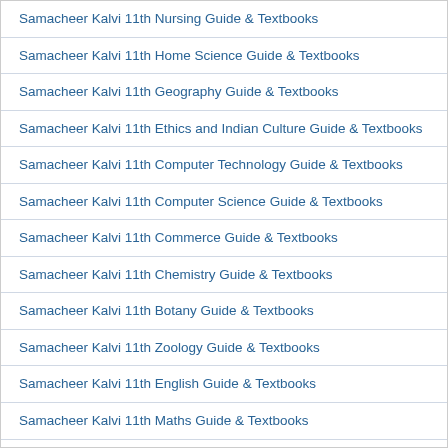Samacheer Kalvi 11th Nursing Guide & Textbooks
Samacheer Kalvi 11th Home Science Guide & Textbooks
Samacheer Kalvi 11th Geography Guide & Textbooks
Samacheer Kalvi 11th Ethics and Indian Culture Guide & Textbooks
Samacheer Kalvi 11th Computer Technology Guide & Textbooks
Samacheer Kalvi 11th Computer Science Guide & Textbooks
Samacheer Kalvi 11th Commerce Guide & Textbooks
Samacheer Kalvi 11th Chemistry Guide & Textbooks
Samacheer Kalvi 11th Botany Guide & Textbooks
Samacheer Kalvi 11th Zoology Guide & Textbooks
Samacheer Kalvi 11th English Guide & Textbooks
Samacheer Kalvi 11th Maths Guide & Textbooks
Samacheer Kalvi 11th Physics Guide & Textbooks
Samacheer Kalvi 11th Biology Guide & Textbooks
Samacheer Kalvi 11th Tamil Guide & Textbooks